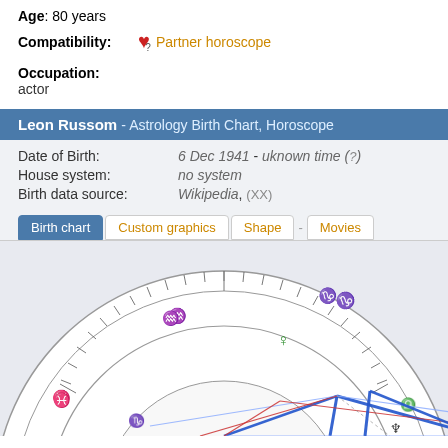Age: 80 years
Compatibility: Partner horoscope
Occupation: actor
Leon Russom - Astrology Birth Chart, Horoscope
Date of Birth: 6 Dec 1941 - uknown time (?)
House system: no system
Birth data source: Wikipedia, (XX)
Tabs: Birth chart | Custom graphics | Shape | - | Movies
[Figure (other): Astrological birth chart wheel showing zodiac signs and planetary positions including Saturn, Jupiter, Sun, Mercury, Neptune, Venus, Pluto, Uranus, and aspect lines in blue and red.]